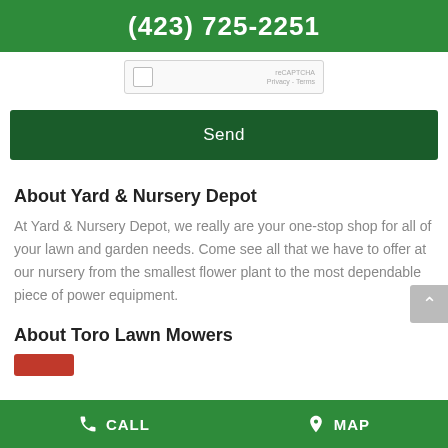(423) 725-2251
[Figure (screenshot): reCAPTCHA widget box with checkbox and 'reCAPTCHA Privacy - Terms' text]
Send
About Yard & Nursery Depot
At Yard & Nursery Depot, we really are your one-stop shop for all of your lawn and garden needs. Come see all that we have to offer at our nursery from the smallest flower plant to the most dependable piece of power equipment.
About Toro Lawn Mowers
CALL   MAP